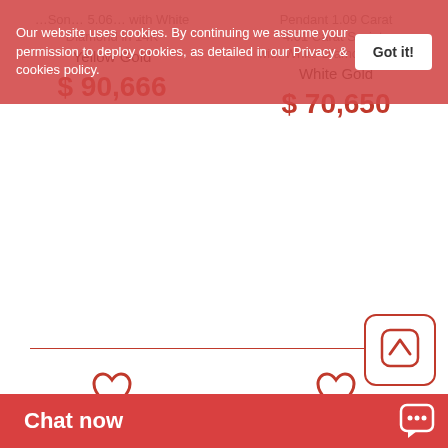Our website uses cookies. By continuing we assume your permission to deploy cookies, as detailed in our Privacy & cookies policy.
Got it!
5.06 ... with White Diamond in 14K Yellow Gold
$ 90,666
Pendant 4.01 Carat S...ints with White Diamond in 14K White Gold
$ 70,650
[Figure (illustration): Heart/wishlist icon (outline heart shape in red), left column]
[Figure (illustration): Heart/wishlist icon (outline heart shape in red), right column]
[Figure (illustration): Scroll-to-top button with upward arrow icon in red outline box]
Chat now
[Figure (illustration): Chat speech bubble icon in white, bottom right of chat bar]